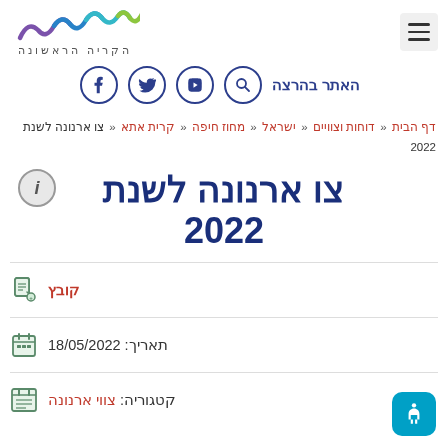[Figure (logo): Hakirya Harishona logo with colorful wavy lines and Hebrew text הקריה הראשונה]
[Figure (infographic): Social media icons row: search, YouTube, Twitter, Facebook circles, with Hebrew label האתר בהרצה]
דף הבית « דוחות וצוויים « ישראל « מחוז חיפה « קרית אתא « צו ארנונה לשנת 2022
צו ארנונה לשנת 2022
קובץ
תאריך: 18/05/2022
קטגוריה: צווי ארנונה